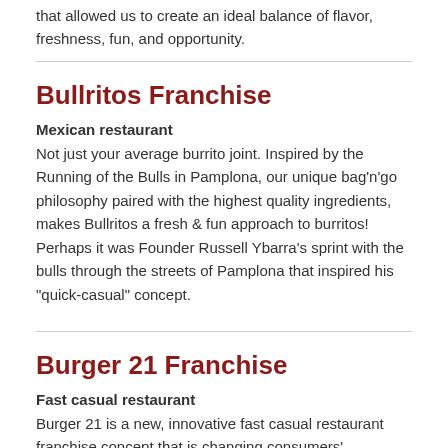that allowed us to create an ideal balance of flavor, freshness, fun, and opportunity.
Bullritos Franchise
Mexican restaurant
Not just your average burrito joint. Inspired by the Running of the Bulls in Pamplona, our unique bag'n'go philosophy paired with the highest quality ingredients, makes Bullritos a fresh & fun approach to burritos! Perhaps it was Founder Russell Ybarra's sprint with the bulls through the streets of Pamplona that inspired his "quick-casual" concept.
Burger 21 Franchise
Fast casual restaurant
Burger 21 is a new, innovative fast casual restaurant franchise concept that is changing consumers' expectations of the "better burger" category. With its chef-inspired creations, unique concept design and exceptional dining experience, Burger 21 is positioned for enormous growth.